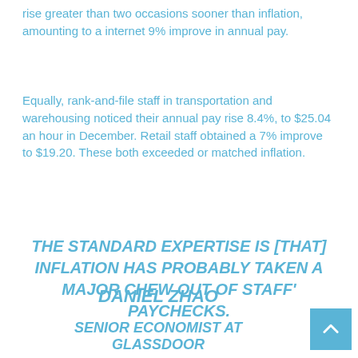rise greater than two occasions sooner than inflation, amounting to a internet 9% improve in annual pay.
Equally, rank-and-file staff in transportation and warehousing noticed their annual pay rise 8.4%, to $25.04 an hour in December. Retail staff obtained a 7% improve to $19.20. These both exceeded or matched inflation.
THE STANDARD EXPERTISE IS [THAT] INFLATION HAS PROBABLY TAKEN A MAJOR CHEW OUT OF STAFF' PAYCHECKS.
DANIEL ZHAO
SENIOR ECONOMIST AT GLASSDOOR